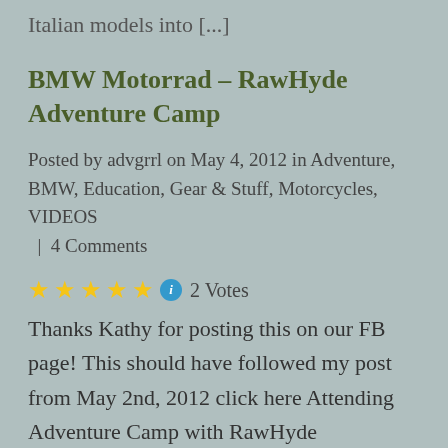Italian models into [...]
BMW Motorrad – RawHyde Adventure Camp
Posted by advgrrl on May 4, 2012 in Adventure, BMW, Education, Gear & Stuff, Motorcycles, VIDEOS  |  4 Comments
★★★★★ ℹ 2 Votes
Thanks Kathy for posting this on our FB page! This should have followed my post from May 2nd, 2012 click here Attending Adventure Camp with RawHyde Adventures, the official BMW Motorrad off-road training academy in North America, will greatly